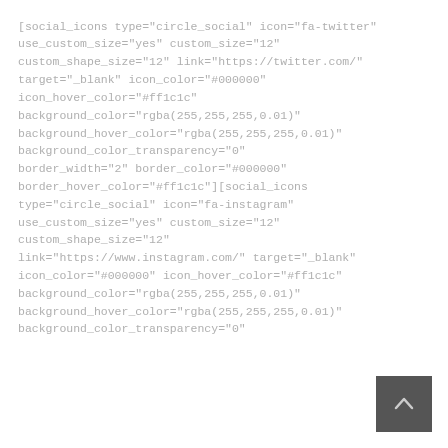consequat an. Eius lore in incidunt vix at, vel pertinax.

[social_icons type="circle_social" icon="fa-twitter" use_custom_size="yes" custom_size="12" custom_shape_size="12" link="https://twitter.com/" target="_blank" icon_color="#000000" icon_hover_color="#ff1c1c" background_color="rgba(255,255,255,0.01)" background_hover_color="rgba(255,255,255,0.01)" background_color_transparency="0" border_width="2" border_color="#000000" border_hover_color="#ff1c1c"][social_icons type="circle_social" icon="fa-instagram" use_custom_size="yes" custom_size="12" custom_shape_size="12" link="https://www.instagram.com/" target="_blank" icon_color="#000000" icon_hover_color="#ff1c1c" background_color="rgba(255,255,255,0.01)" background_hover_color="rgba(255,255,255,0.01)" background_color_transparency="0"